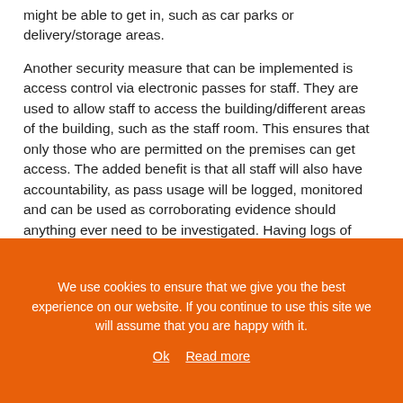might be able to get in, such as car parks or delivery/storage areas.
Another security measure that can be implemented is access control via electronic passes for staff. They are used to allow staff to access the building/different areas of the building, such as the staff room. This ensures that only those who are permitted on the premises can get access. The added benefit is that all staff will also have accountability, as pass usage will be logged, monitored and can be used as corroborating evidence should anything ever need to be investigated. Having logs of who
We use cookies to ensure that we give you the best experience on our website. If you continue to use this site we will assume that you are happy with it.
Ok   Read more